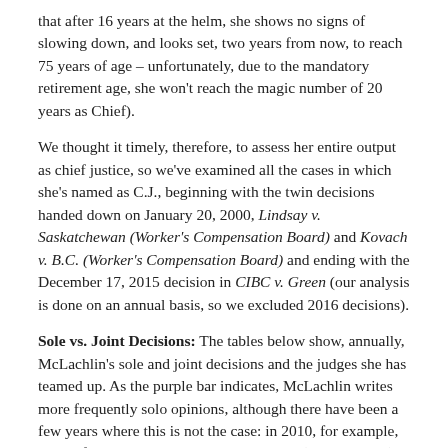that after 16 years at the helm, she shows no signs of slowing down, and looks set, two years from now, to reach 75 years of age – unfortunately, due to the mandatory retirement age, she won't reach the magic number of 20 years as Chief).
We thought it timely, therefore, to assess her entire output as chief justice, so we've examined all the cases in which she's named as C.J., beginning with the twin decisions handed down on January 20, 2000, Lindsay v. Saskatchewan (Worker's Compensation Board) and Kovach v. B.C. (Worker's Compensation Board) and ending with the December 17, 2015 decision in CIBC v. Green (our analysis is done on an annual basis, so we excluded 2016 decisions).
Sole vs. Joint Decisions: The tables below show, annually, McLachlin's sole and joint decisions and the judges she has teamed up. As the purple bar indicates, McLachlin writes more frequently solo opinions, although there have been a few years where this is not the case: in 2010, for example, more of her decisions were joint than sole (58% vs. 42%); in 2005 and 2015, she was almost perfectly balanced; and in 2009, 42% were joint. By and large, however, in most years she